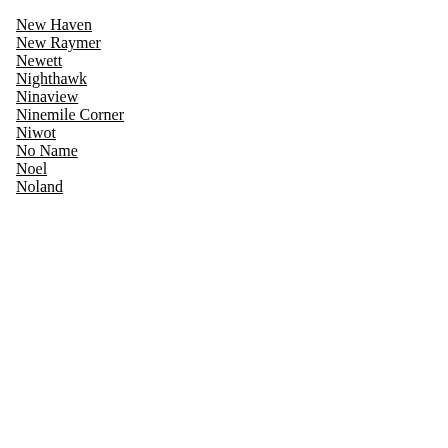New Haven
New Raymer
Newett
Nighthawk
Ninaview
Ninemile Corner
Niwot
No Name
Noel
Noland